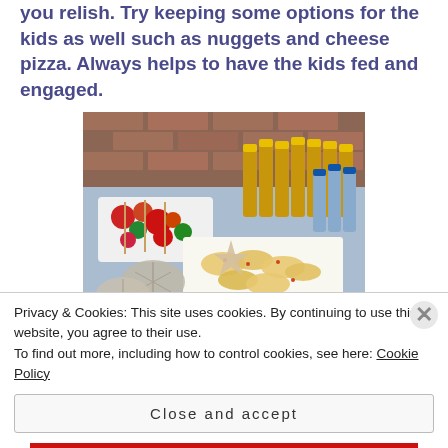you relish. Try keeping some options for the kids as well such as nuggets and cheese pizza. Always helps to have the kids fed and engaged.
[Figure (photo): A party food table with fruit skewers, chips/crackers on trays, multiple bottles of juice/water with yellow and blue caps arranged against a brick wall backdrop, with decorative seashells and colorful glass beads, and a basket of golden snacks in the foreground.]
14. Do not force feed other peoples children with
Privacy & Cookies: This site uses cookies. By continuing to use this website, you agree to their use.
To find out more, including how to control cookies, see here: Cookie Policy
Close and accept